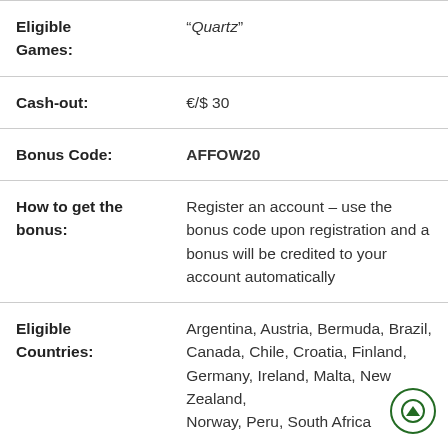| Field | Value |
| --- | --- |
| Eligible Games: | “Quartz” |
| Cash-out: | €/$ 30 |
| Bonus Code: | AFFOW20 |
| How to get the bonus: | Register an account – use the bonus code upon registration and a bonus will be credited to your account automatically |
| Eligible Countries: | Argentina, Austria, Bermuda, Brazil, Canada, Chile, Croatia, Finland, Germany, Ireland, Malta, New Zealand, Norway, Peru, South Africa... |